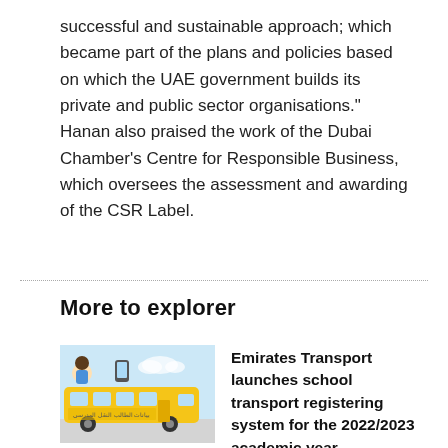successful and sustainable approach; which became part of the plans and policies based on which the UAE government builds its private and public sector organisations."
Hanan also praised the work of the Dubai Chamber’s Centre for Responsible Business, which oversees the assessment and awarding of the CSR Label.
More to explorer
[Figure (illustration): Illustration of Emirates Transport school bus (yellow) with Arabic text and a cartoon character, representing school transport service.]
Emirates Transport launches school transport registering system for the 2022/2023 academic year